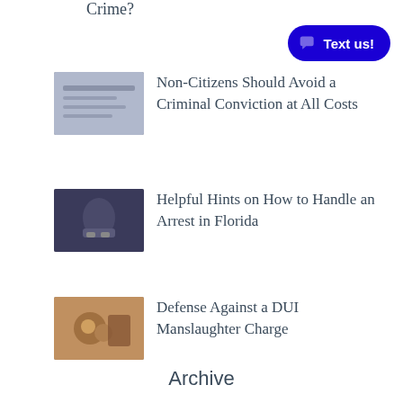Crime?
[Figure (illustration): Blue rounded button with chat icon and text 'Text us!']
[Figure (photo): Thumbnail image related to non-citizens and criminal conviction article]
Non-Citizens Should Avoid a Criminal Conviction at All Costs
[Figure (photo): Thumbnail image of person with hands cuffed behind back related to arrest article]
Helpful Hints on How to Handle an Arrest in Florida
[Figure (photo): Thumbnail image related to DUI manslaughter charge article]
Defense Against a DUI Manslaughter Charge
Archive